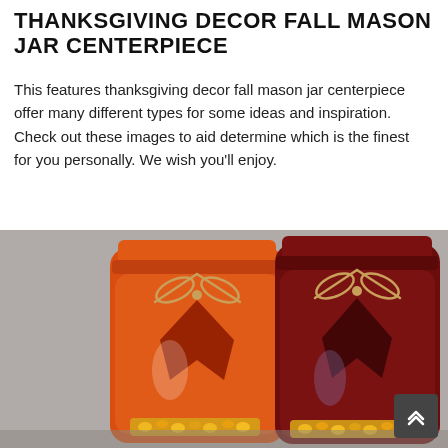THANKSGIVING DECOR FALL MASON JAR CENTERPIECE
This features thanksgiving decor fall mason jar centerpiece offer many different types for some ideas and inspiration. Check out these images to aid determine which is the finest for you personally. We wish you'll enjoy.
[Figure (photo): Two painted mason jars in orange and dark red/maroon colors, each decorated with twine bows tied around the neck. The jars have leaf cutouts revealing a darker interior, and corn kernels visible at the bottom. Background is gray.]